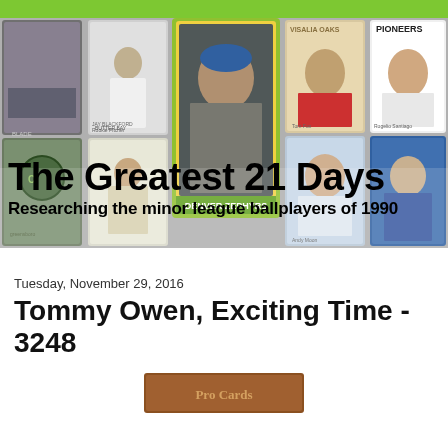[Figure (illustration): Blog banner header with green top bar and collage of vintage minor league baseball cards as background. Central card shows a Denver Zephyrs player. Other cards include Visalia Oaks, Pioneers, Greensboro and other minor league teams. Large bold text reads 'The Greatest 21 Days' with subtitle 'Researching the minor league ballplayers of 1990'.]
The Greatest 21 Days
Researching the minor league ballplayers of 1990
Tuesday, November 29, 2016
Tommy Owen, Exciting Time - 3248
[Figure (photo): Partial view of a baseball card at the bottom of the page, brownish colored card partially cut off.]